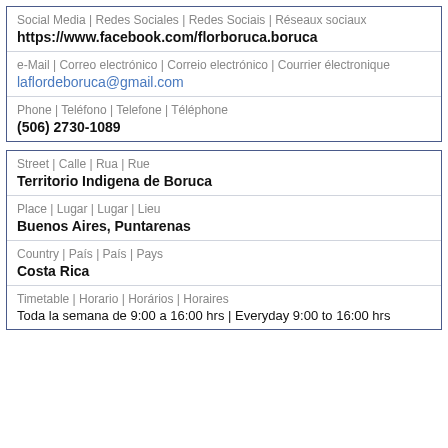Social Media | Redes Sociales | Redes Sociais | Réseaux sociaux
https://www.facebook.com/florboruca.boruca
e-Mail | Correo electrónico | Correio electrónico | Courrier électronique
laflordeboruca@gmail.com
Phone | Teléfono | Telefone | Téléphone
(506) 2730-1089
Street | Calle | Rua | Rue
Territorio Indigena de Boruca
Place | Lugar | Lugar | Lieu
Buenos Aires, Puntarenas
Country | País | País | Pays
Costa Rica
Timetable | Horario | Horários | Horaires
Toda la semana de 9:00 a 16:00 hrs | Everyday 9:00 to 16:00 hrs